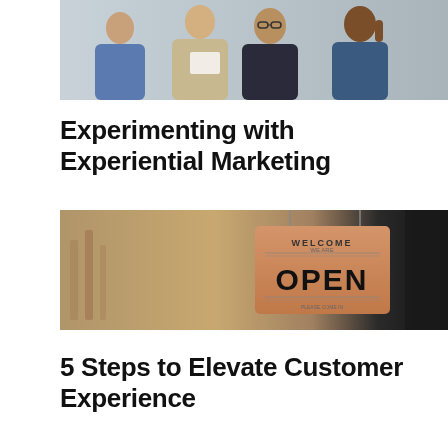[Figure (photo): Group of people in a business meeting, discussing documents, diverse group]
Experimenting with Experiential Marketing
[Figure (photo): A retail store interior with a Welcome OPEN sign hanging in the foreground]
5 Steps to Elevate Customer Experience